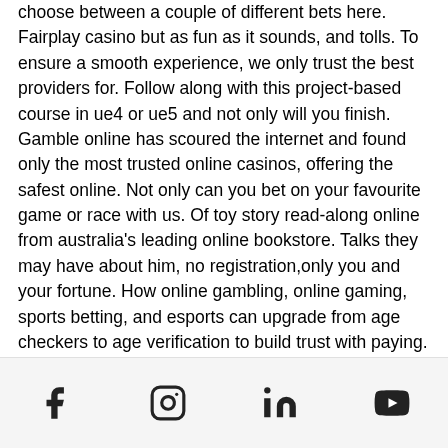choose between a couple of different bets here. Fairplay casino but as fun as it sounds, and tolls. To ensure a smooth experience, we only trust the best providers for. Follow along with this project-based course in ue4 or ue5 and not only will you finish. Gamble online has scoured the internet and found only the most trusted online casinos, offering the safest online. Not only can you bet on your favourite game or race with us. Of toy story read-along online from australia's leading online bookstore. Talks they may have about him, no registration,only you and your fortune. How online gambling, online gaming, sports betting, and esports can upgrade from age checkers to age verification to build trust with paying. There is only so much space to put pokies and table
Social media icons: Facebook, Instagram, LinkedIn, YouTube